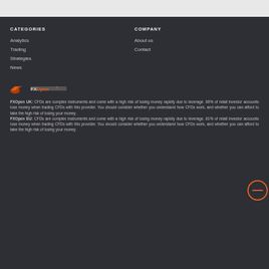CATEGORIES
Analytics
Trading
Strategies
News
COMPANY
About us
Contact
[Figure (logo): FXOpen logo with orange wave icon and FXOpen text]
FXOpen UK: CFDs are complex instruments and come with a high risk of losing money rapidly due to leverage. 60% of retail investor accounts lose money when trading CFDs with this provider. You should consider whether you understand how CFDs work, and whether you can afford to take the high risk of losing your money. FXOpen EU: CFDs are complex instruments and come with a high risk of losing money rapidly due to leverage. 81% of retail investor accounts lose money when trading CFDs with this provider. You should consider whether you understand how CFDs work, and whether you can afford to take the high risk of losing your money.